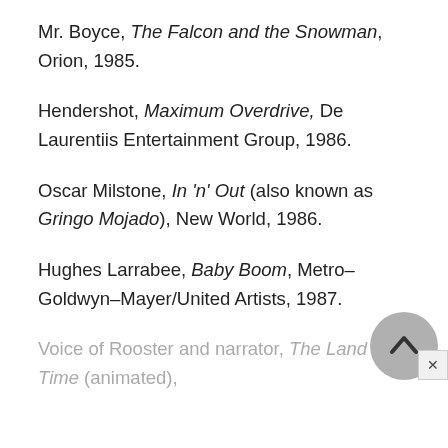Mr. Boyce, The Falcon and the Snowman, Orion, 1985.
Hendershot, Maximum Overdrive, De Laurentiis Entertainment Group, 1986.
Oscar Milstone, In 'n' Out (also known as Gringo Mojado), New World, 1986.
Hughes Larrabee, Baby Boom, Metro–Goldwyn–Mayer/United Artists, 1987.
Voice of Rooster and narrator, The Land Before Time (animated),